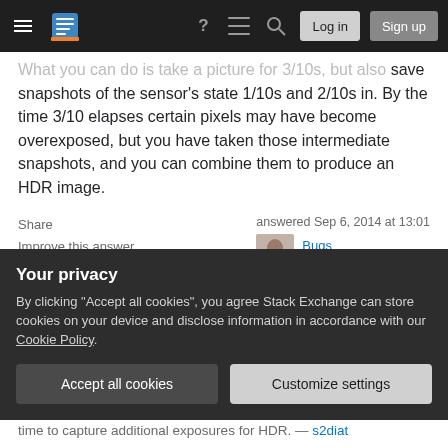Stack Exchange navigation bar with hamburger menu, logo, help, chat, search, Log in, Sign up
What you can do is take a picture for 3/10s, but also save snapshots of the sensor's state 1/10s and 2/10s in. By the time 3/10 elapses certain pixels may have become overexposed, but you have taken those intermediate snapshots, and you can combine them to produce an HDR image.
Share
Improve this answer
Follow
answered Sep 6, 2014 at 13:01
Bugs
251 ●2 ●3
The iPhone 5s lets you capture video at 120 frames
Your privacy
By clicking "Accept all cookies", you agree Stack Exchange can store cookies on your device and disclose information in accordance with our Cookie Policy.
Accept all cookies
Customize settings
time to capture additional exposures for HDR. —